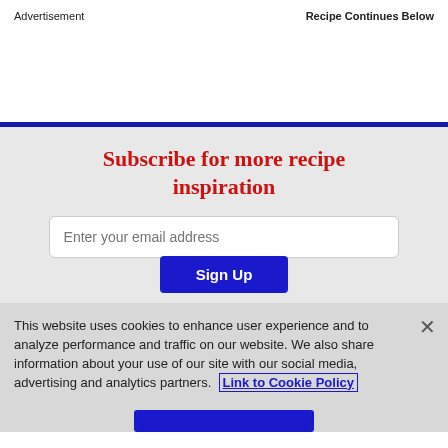Advertisement    Recipe Continues Below
Subscribe for more recipe inspiration
Enter your email address
Sign Up
This website uses cookies to enhance user experience and to analyze performance and traffic on our website. We also share information about your use of our site with our social media, advertising and analytics partners. Link to Cookie Policy